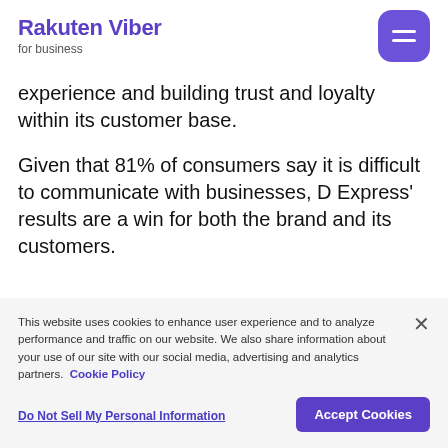Rakuten Viber for business
experience and building trust and loyalty within its customer base.
Given that 81% of consumers say it is difficult to communicate with businesses, D Express’ results are a win for both the brand and its customers.
“D Express, one of our most valued
This website uses cookies to enhance user experience and to analyze performance and traffic on our website. We also share information about your use of our site with our social media, advertising and analytics partners. Cookie Policy
Do Not Sell My Personal Information
Accept Cookies